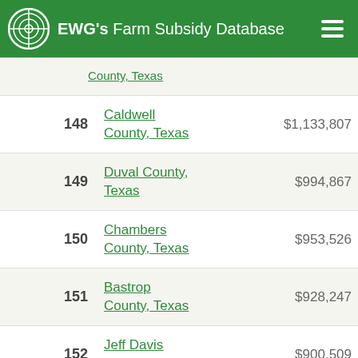EWG's Farm Subsidy Database
| Rank | County | Amount |
| --- | --- | --- |
|  | County, Texas |  |
| 148 | Caldwell County, Texas | $1,133,807 |
| 149 | Duval County, Texas | $994,867 |
| 150 | Chambers County, Texas | $953,526 |
| 151 | Bastrop County, Texas | $928,247 |
| 152 | Jeff Davis County, Texas | $900,509 |